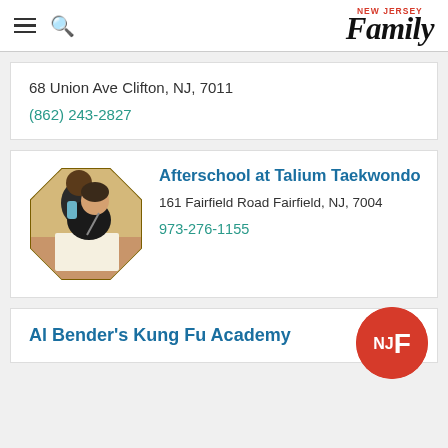NEW JERSEY Family
68 Union Ave Clifton, NJ, 7011
(862) 243-2827
[Figure (photo): Two children doing homework together, inside an octagon-shaped frame with gold/yellow background — logo image for Afterschool at Talium Taekwondo]
Afterschool at Talium Taekwondo
161 Fairfield Road Fairfield, NJ, 7004
973-276-1155
Al Bender's Kung Fu Academy
[Figure (logo): New Jersey Family circular red badge logo with NJF text]